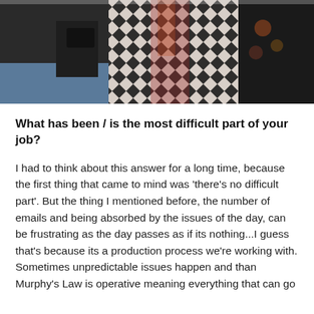[Figure (photo): Photo of people standing together, partially cropped. Left person in dark shirt, center person in black and white diamond/harlequin patterned outfit with colorful scarf, right person in dark floral top.]
What has been / is the most difficult part of your job?
I had to think about this answer for a long time, because the first thing that came to mind was 'there's no difficult part'. But the thing I mentioned before, the number of emails and being absorbed by the issues of the day, can be frustrating as the day passes as if its nothing...I guess that's because its a production process we're working with. Sometimes unpredictable issues happen and than Murphy's Law is operative meaning everything that can go